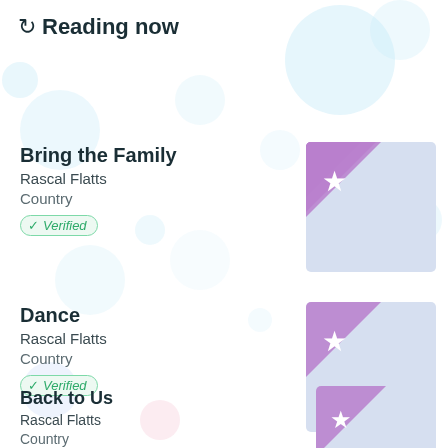Reading now
Bring the Family
Rascal Flatts
Country
Verified
Dance
Rascal Flatts
Country
Verified
Back to Us
Rascal Flatts
Country
Verified